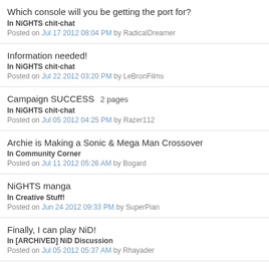Which console will you be getting the port for?
In NiGHTS chit-chat
Posted on Jul 17 2012 08:04 PM by RadicalDreamer
Information needed!
In NiGHTS chit-chat
Posted on Jul 22 2012 03:20 PM by LeBronFilms
Campaign SUCCESS  2 pages
In NiGHTS chit-chat
Posted on Jul 05 2012 04:25 PM by Razer112
Archie is Making a Sonic & Mega Man Crossover
In Community Corner
Posted on Jul 11 2012 05:26 AM by Bogard
NiGHTS manga
In Creative Stuff!
Posted on Jun 24 2012 09:33 PM by SuperPian
Finally, I can play NiD!
In [ARCHiVED] NiD Discussion
Posted on Jul 05 2012 05:37 AM by Rhayader
Owl City